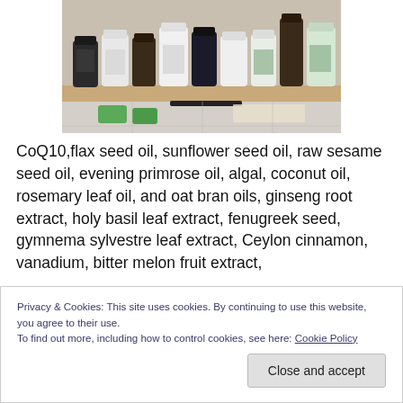[Figure (photo): Photograph of various supplement bottles and containers arranged on a shelf/table, including pills, oils, and herbal supplements.]
CoQ10,flax seed oil, sunflower seed oil, raw sesame seed oil, evening primrose oil, algal, coconut oil, rosemary leaf oil, and oat bran oils, ginseng root extract, holy basil leaf extract, fenugreek seed, gymnema sylvestre leaf extract, Ceylon cinnamon, vanadium, bitter melon fruit extract,
Privacy & Cookies: This site uses cookies. By continuing to use this website, you agree to their use.
To find out more, including how to control cookies, see here: Cookie Policy